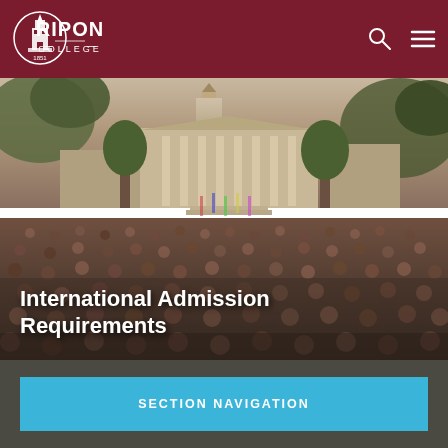[Figure (logo): Ripon College logo with tower icon and text RIPON COLLEGE 1851]
[Figure (photo): Aerial/ground-level photo of a large outdoor graduation ceremony at Ripon College, showing a crowd of people in front of a classical columned building with a tower, surrounded by trees]
International Admission Requirements
SECTION NAVIGATION